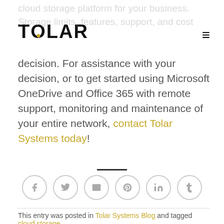TOLAR
decision. For assistance with your decision, or to get started using Microsoft OneDrive and Office 365 with remote support, monitoring and maintenance of your entire network, contact Tolar Systems today!
[Figure (other): Social sharing icons: Facebook, Twitter, Email, Pinterest, LinkedIn, Tumblr — circular grey outlined buttons]
This entry was posted in Tolar Systems Blog and tagged cloud storage.
TOLAR EDITOR
Tolar Systems has been serving the Abilene area since 2000, providing IT Support such as technical helpdesk support, computer
[Figure (logo): Tolar Systems gold logo — shield/chevron shape with triangle and circle]